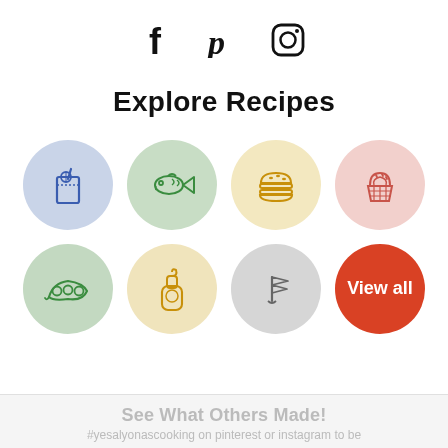[Figure (infographic): Social media icons: Facebook (f), Pinterest (P), Instagram (camera) in black, centered at top]
Explore Recipes
[Figure (infographic): 8 circular category icons in 2 rows of 4: Row 1: blue circle with drink glass, green circle with fish, yellow circle with burger, pink circle with cupcake. Row 2: green circle with pea pod, yellow circle with mustard bottle, gray circle with flag, red circle with 'View all' text]
See What Others Made!
#yesalyonascooking on pinterest or instagram to be